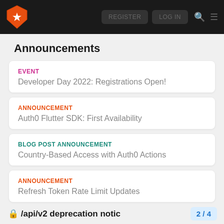Nav bar with Auth0 logo, REGISTER button, LOG IN button, search and menu icons
Announcements
EVENT — Developer Day 2022: Registrations Open!
ANNOUNCEMENT — Auth0 Flutter SDK: First Availability
BLOG POST ANNOUNCEMENT — Country-Based Access with Auth0 Actions
ANNOUNCEMENT — Refresh Token Rate Limit Updates
🔒 /api/v2 deprecation notic…   2 / 4